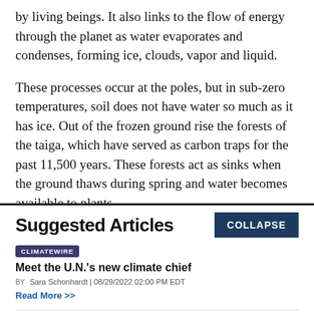by living beings. It also links to the flow of energy through the planet as water evaporates and condenses, forming ice, clouds, vapor and liquid.

These processes occur at the poles, but in sub-zero temperatures, soil does not have water so much as it has ice. Out of the frozen ground rise the forests of the taiga, which have served as carbon traps for the past 11,500 years. These forests act as sinks when the ground thaws during spring and water becomes available to plants,
Suggested Articles
CLIMATEWIRE
Meet the U.N.'s new climate chief
BY Sara Schonhardt | 08/29/2022 02:00 PM EDT
Read More >>
CLIMATEWIRE
With prices soaring, natural gas faces uncertain future